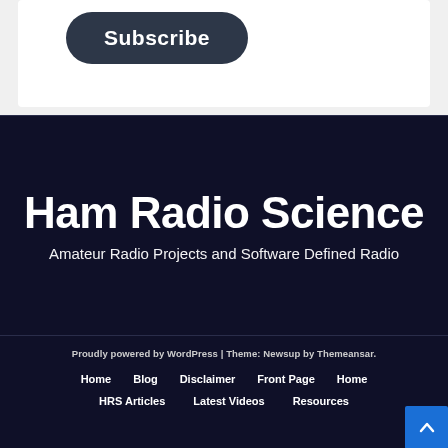[Figure (other): Subscribe button on white card against gray background]
Ham Radio Science
Amateur Radio Projects and Software Defined Radio
Proudly powered by WordPress | Theme: Newsup by Themeansar.
Home
Blog
Disclaimer
Front Page
Home
HRS Articles
Latest Videos
Resources